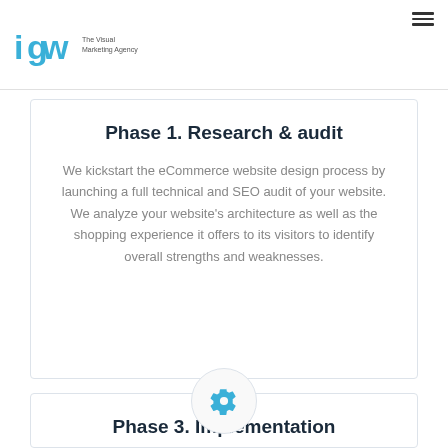igw The Visual Marketing Agency
Phase 1. Research & audit
We kickstart the eCommerce website design process by launching a full technical and SEO audit of your website. We analyze your website’s architecture as well as the shopping experience it offers to its visitors to identify overall strengths and weaknesses.
[Figure (illustration): Gear/settings icon inside a circle, acting as a visual separator between Phase 1 and Phase 3 cards]
Phase 3. Implementation
At this stage, we implement the overall